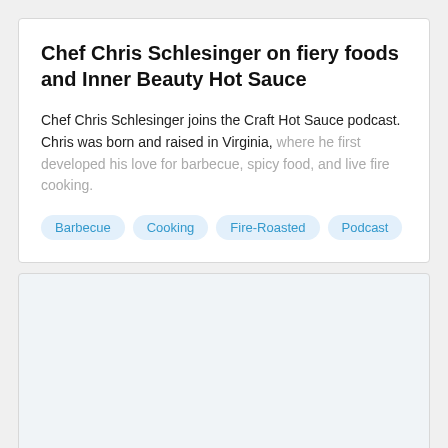Chef Chris Schlesinger on fiery foods and Inner Beauty Hot Sauce
Chef Chris Schlesinger joins the Craft Hot Sauce podcast. Chris was born and raised in Virginia, where he first developed his love for barbecue, spicy food, and live fire cooking.
Barbecue
Cooking
Fire-Roasted
Podcast